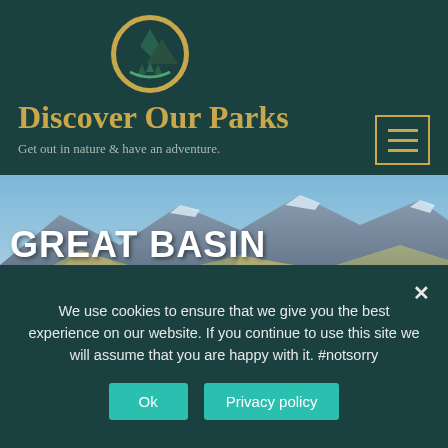[Figure (logo): Circular logo with mountains and trees, golden/tan border on dark teal background]
Discover Our Parks
Get out in nature & have an adventure.
[Figure (photo): Mountain landscape photo showing Great Basin National Park with blue sky and rocky peaks]
GREAT BASIN NATIONAL PARK
PARK NEWS
We use cookies to ensure that we give you the best experience on our website. If you continue to use this site we will assume that you are happy with it. #notsorry